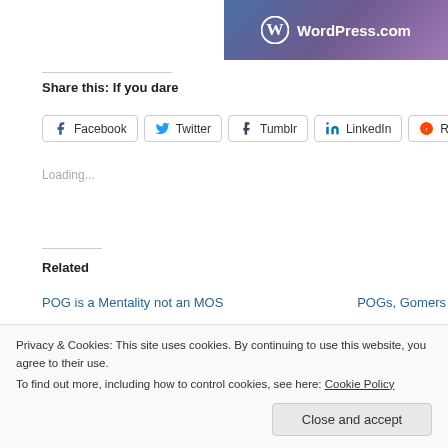[Figure (logo): WordPress.com logo with circular W icon on gradient blue-purple background]
Share this: If you dare
Facebook  Twitter  Tumblr  LinkedIn  Reddit
Loading...
Related
POG is a Mentality not an MOS
POGs, Gomers
Privacy & Cookies: This site uses cookies. By continuing to use this website, you agree to their use.
To find out more, including how to control cookies, see here: Cookie Policy
Close and accept